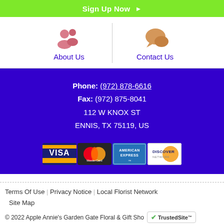Sign Up Now ▶
[Figure (illustration): Two icons side by side: a pink people/group icon labeled 'About Us' and an orange speech bubble icon labeled 'Contact Us', separated by a vertical line]
Phone: (972) 878-6616
Fax: (972) 875-8041
112 W KNOX ST
ENNIS, TX 75119, US
[Figure (illustration): Four payment card logos: Visa, MasterCard, American Express, Discover]
Terms Of Use | Privacy Notice | Local Florist Network | Site Map
© 2022 Apple Annie's Garden Gate Floral & Gift Shop